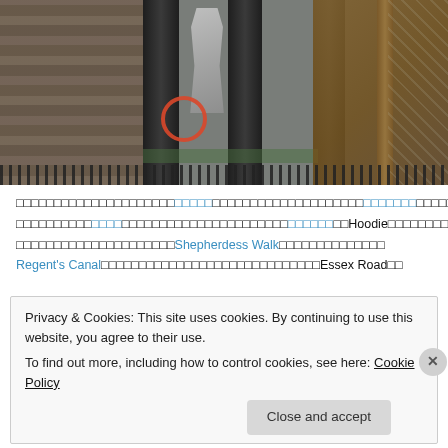[Figure (photo): Outdoor photograph showing large dark concrete or metal pillars/columns against a brick wall background. A stencil graffiti figure (person in hoodie) is visible between the pillars along with a circular red/orange spray-painted shape. Green moss and debris visible at the base. Fence elements at the bottom. Wooden structures and wire fencing visible on the right side.]
Japanese/Unicode text with hyperlinks mentioning Hoodie, Shepherdess Walk, Regent's Canal, and Essex Road
Privacy & Cookies: This site uses cookies. By continuing to use this website, you agree to their use.
To find out more, including how to control cookies, see here: Cookie Policy
Close and accept